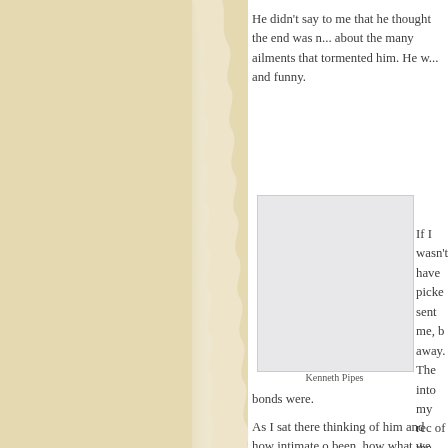He didn't say to me that he thought the end was n... about the many ailments that tormented him. He w... and funny.
[Figure (photo): A photograph of Kenneth Pipes — light gray rectangular image with caption 'Kenneth Pipes' at the bottom]
Kenneth Pipes
If I wasn't have picke sent me, b away. The into my rec of the day Our last co moment wh us became than I'd ev and wide a bonds were.
As I sat there thinking of him and how intimate o been, how what we said to each other bore into th